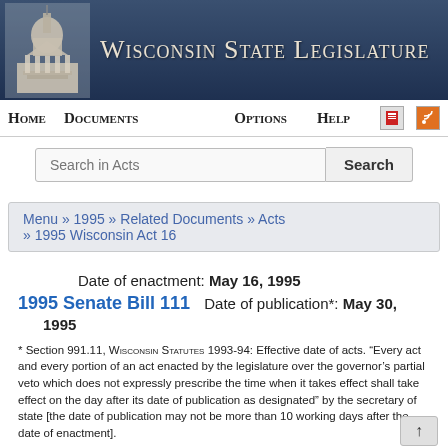[Figure (other): Wisconsin State Legislature website header banner with capitol building image and site title]
Home   Documents   Options   Help
Search in Acts  Search
Menu » 1995 » Related Documents » Acts » 1995 Wisconsin Act 16
Date of enactment: May 16, 1995
1995 Senate Bill 111   Date of publication*: May 30, 1995
* Section 991.11, Wisconsin Statutes 1993-94: Effective date of acts. "Every act and every portion of an act enacted by the legislature over the governor's partial veto which does not expressly prescribe the time when it takes effect shall take effect on the day after its date of publication as designated" by the secretary of state [the date of publication may not be more than 10 working days after the date of enactment].